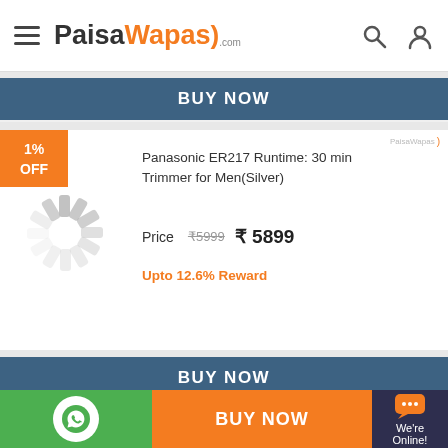[Figure (screenshot): PaisaWapas.com website header with hamburger menu, logo, search and user icons]
BUY NOW
[Figure (other): 1% OFF badge]
[Figure (other): Loading spinner image placeholder]
Panasonic ER217 Runtime: 30 min Trimmer for Men(Silver)
Price ₹5999 ₹ 5899
Upto 12.6% Reward
BUY NOW
[Figure (other): 6% OFF badge]
Panasonic ER417K44B Runtime: 45 min
BUY NOW
[Figure (logo): WhatsApp icon in green circle]
[Figure (other): Chat bubble icon with 'We're Online!' text]